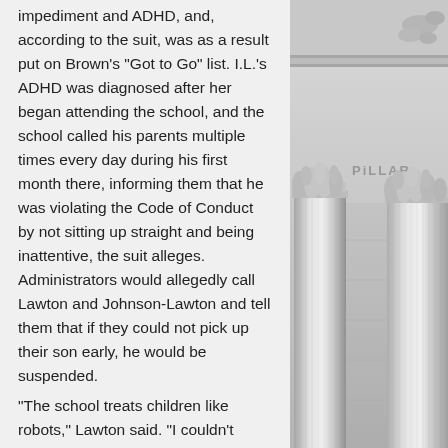impediment and ADHD, and, according to the suit, was as a result put on Brown's "Got to Go" list. I.L.'s ADHD was diagnosed after her began attending the school, and the school called his parents multiple times every day during his first month there, informing them that he was violating the Code of Conduct by not sitting up straight and being inattentive, the suit alleges. Administrators would allegedly call Lawton and Johnson-Lawton and tell them that if they could not pick up their son early, he would be suspended.
"The school treats children like robots," Lawton said. "I couldn't believe this was happening to my child, or that his school principal planned to kick him out of the school once he saw that my child was
[Figure (photo): Black and white photograph of a neoclassical building exterior showing large stone columns with ornate Corinthian capitals, decorative frieze with carved motifs, and text 'PILLAR' partially visible]